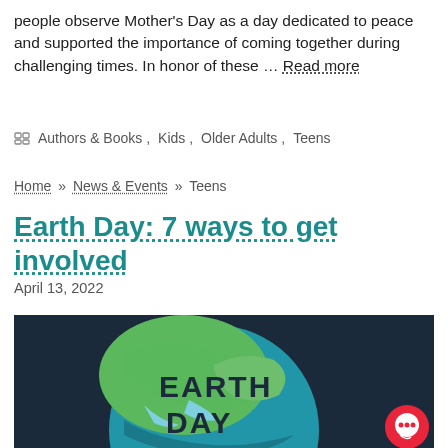people observe Mother's Day as a day dedicated to peace and supported the importance of coming together during challenging times. In honor of these … Read more
Authors & Books, Kids, Older Adults, Teens
Home » News & Events » Teens
Earth Day: 7 ways to get involved
April 13, 2022
[Figure (illustration): Earth Day graphic showing a globe with green and blue continents on a dark navy background with 'EARTH DAY' text overlay and a red chat bubble icon in the bottom right corner]